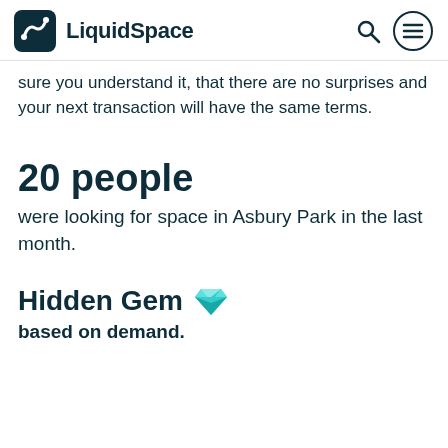LiquidSpace
sure you understand it, that there are no surprises and your next transaction will have the same terms.
20 people were looking for space in Asbury Park in the last month.
Hidden Gem based on demand.